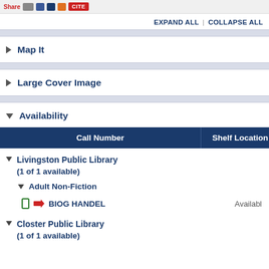Share [icons] CITE
EXPAND ALL | COLLAPSE ALL
Map It
Large Cover Image
Availability
| Call Number | Shelf Location | Status |
| --- | --- | --- |
Livingston Public Library (1 of 1 available)
Adult Non-Fiction
BIOG HANDEL   Available
Closter Public Library (1 of 1 available)